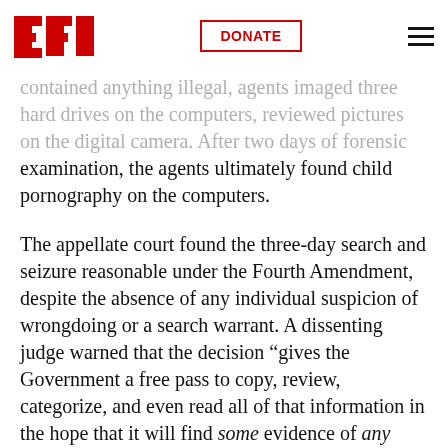EFF | DONATE
contained anything illegal, agents imaged three hard drives on the computers, reviewed pictures on the digital camera. After two days of forensic examination, the agents ultimately found child pornography on the computers.
The appellate court found the three-day search and seizure reasonable under the Fourth Amendment, despite the absence of any individual suspicion of wrongdoing or a search warrant. A dissenting judge warned that the decision “gives the Government a free pass to copy, review, categorize, and even read all of that information in the hope that it will find some evidence of any crime.”
In our amicus brief, written by Michael Price and Malia Brink of the NACDL, we urge the court to reconsider its decision, which we caution leads to a